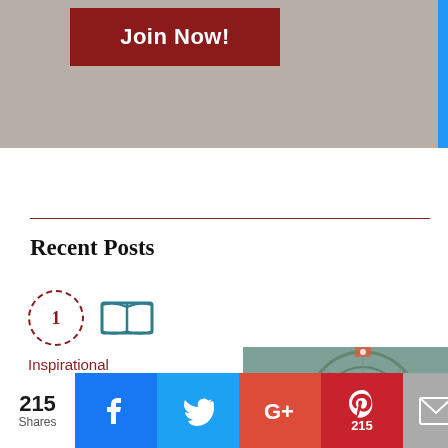[Figure (screenshot): Top banner with dark red 'Join Now!' button on a warm gray background, with a blue sidebar on the right edge.]
Recent Posts
[Figure (infographic): Numbered item '1' in a red dashed circle with a teal open-book icon beside it, followed by a blog post thumbnail card reading 'Inspirational Suspense Books You CAN'T PUT DOWN!' with anitaojeda.com URL, next to a photo of a ferris wheel.]
[Figure (screenshot): Social share bar at the bottom showing 215 Shares count, Facebook, Twitter, Google+, Pinterest (215), Email, and a crown icon buttons.]